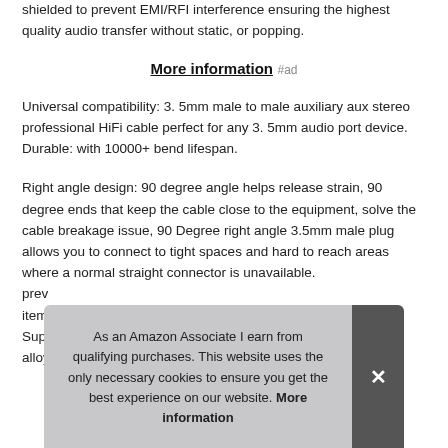shielded to prevent EMI/RFI interference ensuring the highest quality audio transfer without static, or popping.
More information #ad
Universal compatibility: 3. 5mm male to male auxiliary aux stereo professional HiFi cable perfect for any 3. 5mm audio port device. Durable: with 10000+ bend lifespan.
Right angle design: 90 degree angle helps release strain, 90 degree ends that keep the cable close to the equipment, solve the cable breakage issue, 90 Degree right angle 3.5mm male plug allows you to connect to tight spaces and hard to reach areas where a normal straight connector is unavailable. prev item Sup alloy
As an Amazon Associate I earn from qualifying purchases. This website uses the only necessary cookies to ensure you get the best experience on our website. More information